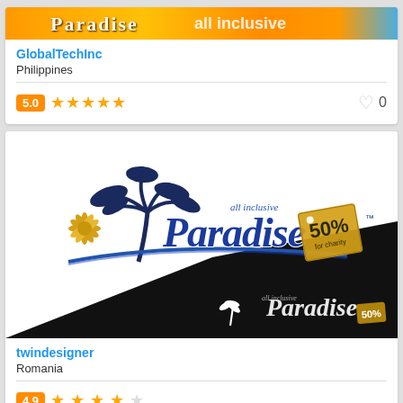[Figure (logo): Top card image with orange gradient background showing a logo/banner]
GlobalTechInc
Philippines
5.0 ★★★★★   ♡ 0
[Figure (logo): All Inclusive Paradise logo with palm tree, blue script lettering, 50% tag, and black diagonal section at bottom]
twindesigner
Romania
Rating row (partial) at bottom